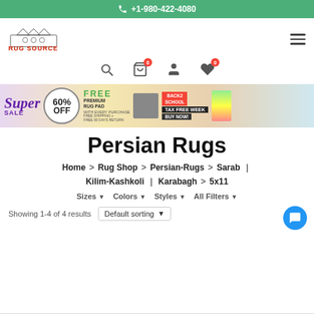+1-980-422-4080
[Figure (logo): Rug Source logo with crown icon and red brand text]
[Figure (screenshot): Navigation icons: search, cart (0), account, wishlist (0)]
[Figure (infographic): Super Sale banner: 60% OFF, Free Premium Rug Pad, Back 2 School Tax Free Week, Buy Now]
Persian Rugs
Home > Rug Shop > Persian-Rugs > Sarab | Kilim-Kashkoli | Karabagh > 5x11
Sizes  Colors  Styles  All Filters
Showing 1-4 of 4 results   Default sorting